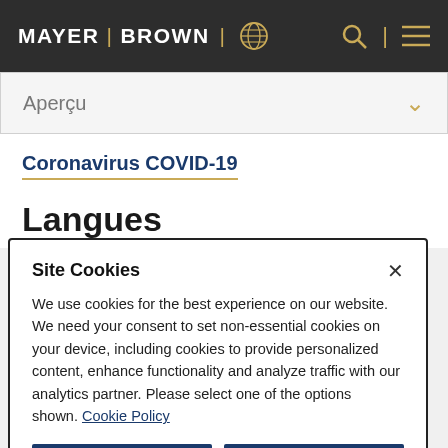MAYER BROWN
Aperçu
Coronavirus COVID-19
Langues
Site Cookies
We use cookies for the best experience on our website. We need your consent to set non-essential cookies on your device, including cookies to provide personalized content, enhance functionality and analyze traffic with our analytics partner. Please select one of the options shown. Cookie Policy
Accept All
Reject All